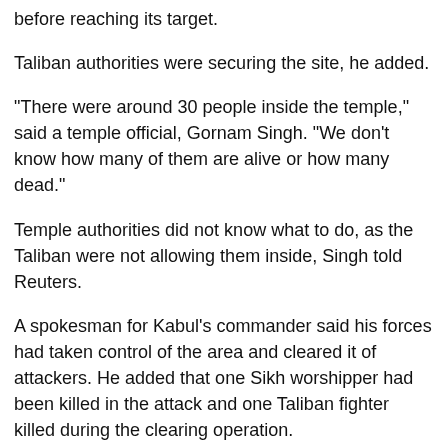before reaching its target.
Taliban authorities were securing the site, he added.
"There were around 30 people inside the temple," said a temple official, Gornam Singh. "We don't know how many of them are alive or how many dead."
Temple authorities did not know what to do, as the Taliban were not allowing them inside, Singh told Reuters.
A spokesman for Kabul's commander said his forces had taken control of the area and cleared it of attackers. He added that one Sikh worshipper had been killed in the attack and one Taliban fighter killed during the clearing operation.
Since taking power in August, the Taliban say they have secured Afghanistan, although international officials and analysts say the risk of a resurgence in militancy remains.